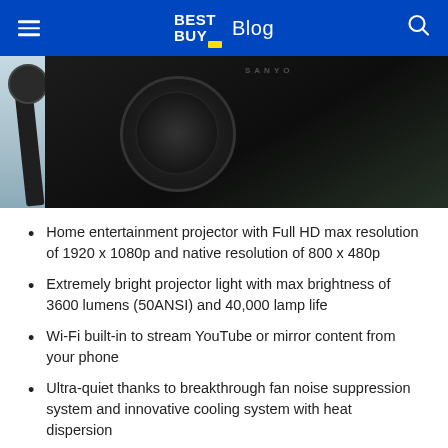BEST BUY Blog
[Figure (photo): Close-up photo of a projector device, partially showing the lens and body against a dark background with some light blue/grey background visible on the left side]
Home entertainment projector with Full HD max resolution of 1920 x 1080p and native resolution of 800 x 480p
Extremely bright projector light with max brightness of 3600 lumens (50ANSI) and 40,000 lamp life
Wi-Fi built-in to stream YouTube or mirror content from your phone
Ultra-quiet thanks to breakthrough fan noise suppression system and innovative cooling system with heat dispersion
F… (partially visible text about screen size range of 80 to 170 inches)